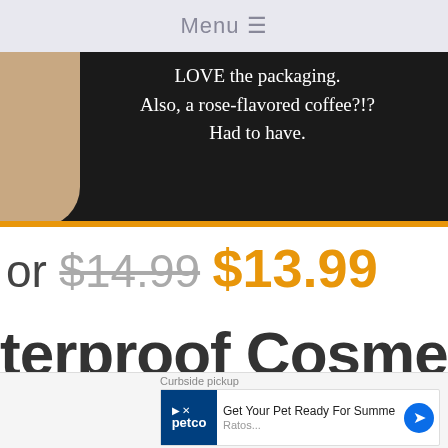Menu ≡
[Figure (photo): Dark background photo showing a hand/arm holding something, with white serif text overlaid reading 'LOVE the packaging. Also, a rose-flavored coffee?!? Had to have.']
or $14.99 $13.99
terproof Cosmeti
[Figure (logo): Amazon Prime logo showing 'vprime' in cyan/teal italic bold text]
[Figure (screenshot): Petco advertisement banner: 'Get Your Pet Ready For Summe Ratos...' with Petco logo and navigation arrow]